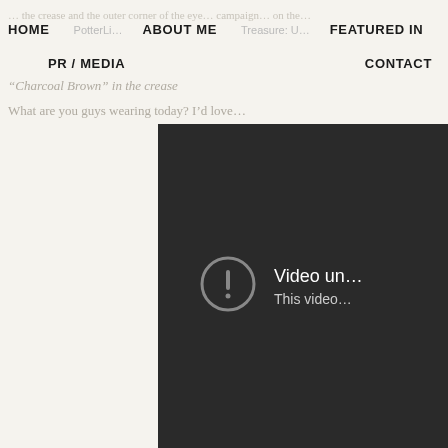HOME | ABOUT ME | FEATURED IN | PR / MEDIA | CONTACT
“Charcoal Brown” in the crease
What are you guys wearing today? I’d love
[Figure (screenshot): Dark video player placeholder showing an error icon with exclamation mark in a circle, and text reading 'Video un...' and 'This video...' indicating an unavailable video.]